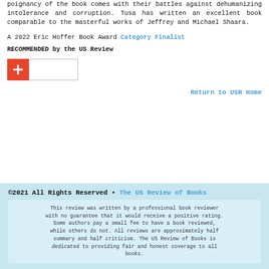poignancy of the book comes with their battles against dehumanizing intolerance and corruption. Tusa has written an excellent book comparable to the masterful works of Jeffrey and Michael Shaara.
A 2022 Eric Hoffer Book Award Category Finalist
RECOMMENDED by the US Review
[Figure (other): Red plus button with adjacent white input box — social share or add widget]
Return to USR Home
©2021 All Rights Reserved • The US Review of Books. This review was written by a professional book reviewer with no guarantee that it would receive a positive rating. Some authors pay a small fee to have a book reviewed, while others do not. All reviews are approximately half summary and half criticism. The US Review of Books is dedicated to providing fair and honest coverage to all books.